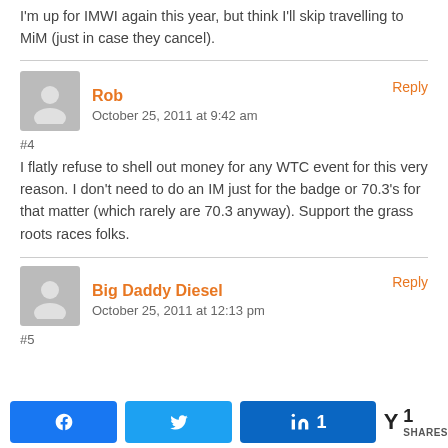I'm up for IMWI again this year, but think I'll skip travelling to MiM (just in case they cancel).
#4
Rob
October 25, 2011 at 9:42 am
I flatly refuse to shell out money for any WTC event for this very reason. I don't need to do an IM just for the badge or 70.3's for that matter (which rarely are 70.3 anyway). Support the grass roots races folks.
#5
Big Daddy Diesel
October 25, 2011 at 12:13 pm